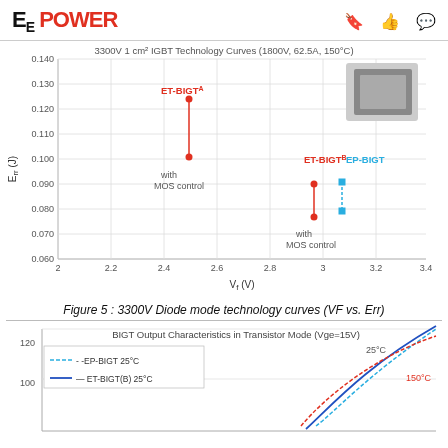EE POWER
[Figure (scatter-plot): Scatter plot showing ET-BIGT^A, ET-BIGT^B, and EP-BIGT data points with vertical lines indicating range with and without MOS control. X-axis: 2 to 3.4 V. Y-axis: 0.060 to 0.140 J.]
Figure 5 : 3300V Diode mode technology curves (VF vs. Err)
[Figure (line-chart): Partial view of line chart showing EP-BIGT 25°C (dashed cyan), ET-BIGT(B) 25°C (solid blue), 25°C and 150°C curves. Y-axis visible from ~95 to 120.]